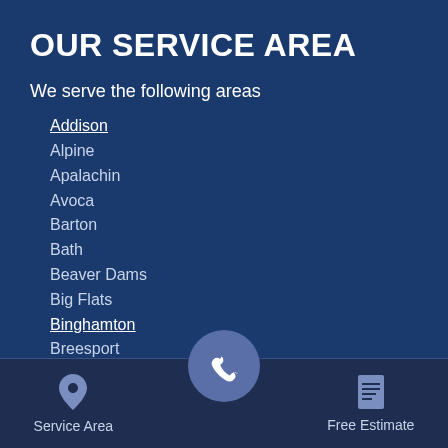OUR SERVICE AREA
We serve the following areas
Addison
Alpine
Apalachin
Avoca
Barton
Bath
Beaver Dams
Big Flats
Binghamton
Breesport
Cameron
Cameron Mills
Campbell
Service Area   Free Estimate